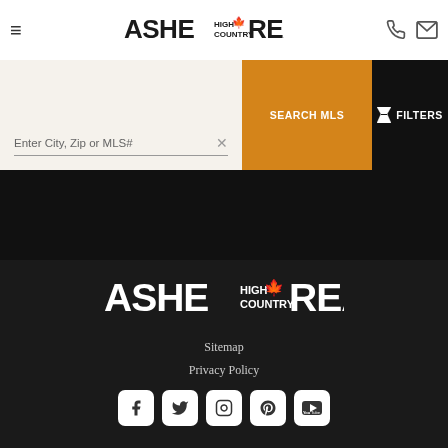[Figure (logo): Ashe High Country Realty logo in header, black text on white background with maple leaf]
Enter City, Zip or MLS#
SEARCH MLS
FILTERS
[Figure (logo): Ashe High Country Realty logo in footer, white text on dark background with gold maple leaf]
Sitemap
Privacy Policy
[Figure (infographic): Social media icons row: Facebook, Twitter, Instagram, Pinterest, YouTube]